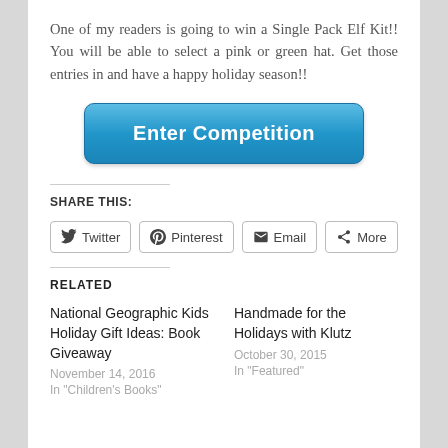One of my readers is going to win a Single Pack Elf Kit!! You will be able to select a pink or green hat. Get those entries in and have a happy holiday season!!
[Figure (other): Blue rounded button labeled 'Enter Competition']
SHARE THIS:
[Figure (other): Social share buttons: Twitter, Pinterest, Email, More]
RELATED
National Geographic Kids Holiday Gift Ideas: Book Giveaway
November 14, 2016
In "Children's Books"
Handmade for the Holidays with Klutz
October 30, 2015
In "Featured"